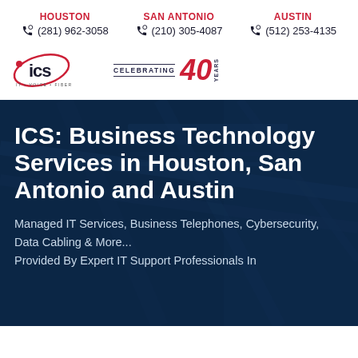HOUSTON (281) 962-3058 | SAN ANTONIO (210) 305-4087 | AUSTIN (512) 253-4135
[Figure (logo): ICS logo with tagline IT • VOICE • FIBER and 'CELEBRATING 40 YEARS' badge]
ICS: Business Technology Services in Houston, San Antonio and Austin
Managed IT Services, Business Telephones, Cybersecurity, Data Cabling & More... Provided By Expert IT Support Professionals In